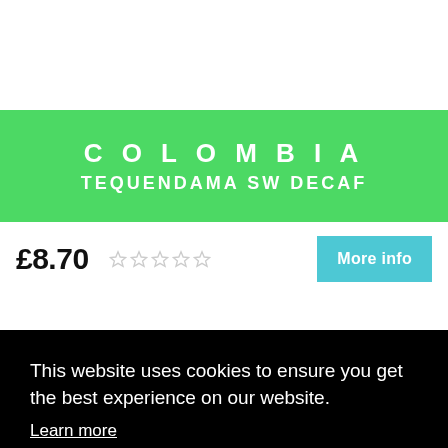COLOMBIA
TEQUENDAMA SW DECAF
£8.70
More info
This website uses cookies to ensure you get the best experience on our website.
Learn more
Got it!